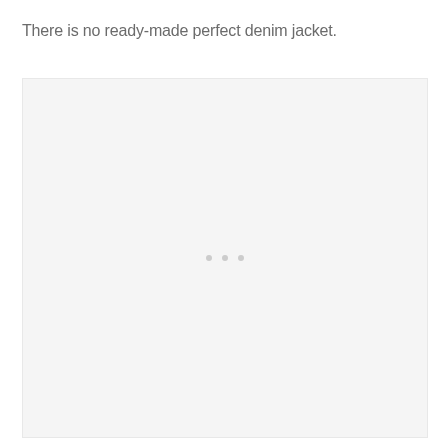There is no ready-made perfect denim jacket.
[Figure (photo): Large light gray placeholder image area with three small light gray dots centered in the middle, indicating a loading or empty image state]